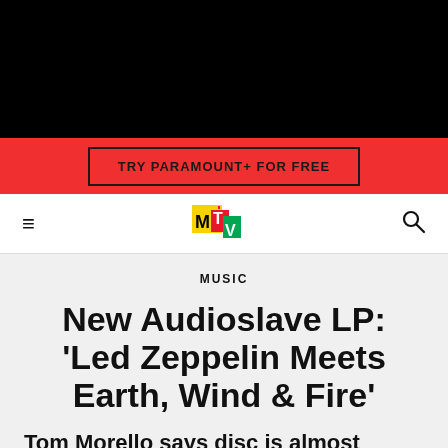[Figure (other): Black header bar area (navigation/video placeholder)]
TRY PARAMOUNT+ FOR FREE
[Figure (logo): MTV logo in yellow, red, green, blue on white nav bar]
MUSIC
New Audioslave LP: 'Led Zeppelin Meets Earth, Wind & Fire'
Tom Morello says disc is almost ready -- and it's a funky 'ass-kicker.'